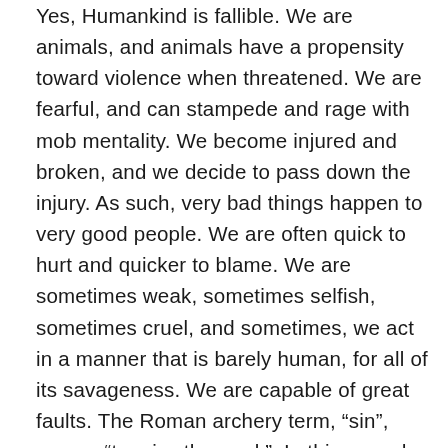Yes, Humankind is fallible. We are animals, and animals have a propensity toward violence when threatened. We are fearful, and can stampede and rage with mob mentality. We become injured and broken, and we decide to pass down the injury. As such, very bad things happen to very good people. We are often quick to hurt and quicker to blame. We are sometimes weak, sometimes selfish, sometimes cruel, and sometimes, we act in a manner that is barely human, for all of its savageness. We are capable of great faults. The Roman archery term, “sin”, means “to miss the mark”. In this regard, yes, we are all sinners now and again – we occasionally miss the mark. But a newborn baby responds to love, and nurturing, and compassion, directly out of the womb. The baby’s spirit responds to the ear makers of Light, as it just left the perfection of Light to join us on this three-dimensional plane. Children start their adult lives pristine in...